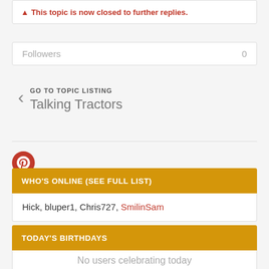⚠ This topic is now closed to further replies.
Followers  0
GO TO TOPIC LISTING
Talking Tractors
WHO'S ONLINE (SEE FULL LIST)
Hick, bluper1, Chris727, SmilinSam
TODAY'S BIRTHDAYS
No users celebrating today